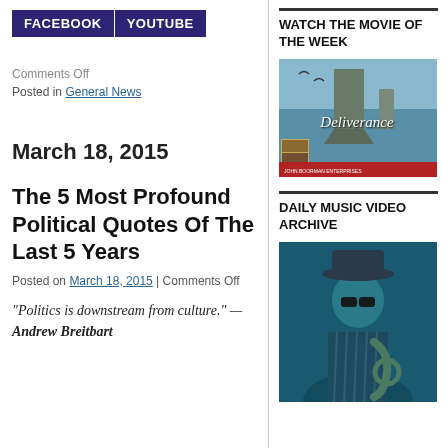[Figure (logo): FACEBOOK and YOUTUBE buttons in dark purple/navy background]
Comments Off
Posted in General News
March 18, 2015
The 5 Most Profound Political Quotes Of The Last 5 Years
Posted on March 18, 2015 | Comments Off
“Politics is downstream from culture.” — Andrew Breitbart
WATCH THE MOVIE OF THE WEEK
[Figure (photo): Movie poster for Deliverance showing ocean/water scene with rock formation]
DAILY MUSIC VIDEO ARCHIVE
[Figure (photo): Photo of a musician in a hat and sunglasses playing saxophone, blue tinted]